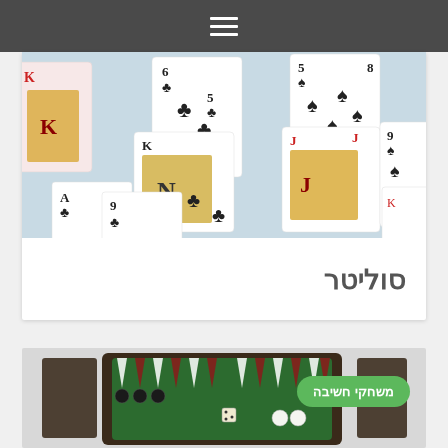☰
[Figure (photo): Spread of playing cards showing clubs, hearts, spades — including king and jack face cards — scattered overlapping on a surface]
סוליטר
[Figure (photo): Backgammon board open showing green felt surface with white point markers and black checkers; green rounded badge with Hebrew text 'משחקי חשיבה']